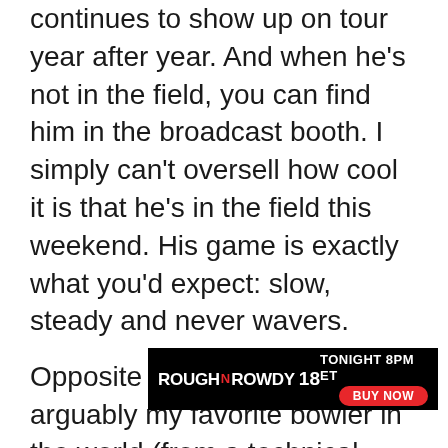continues to show up on tour year after year. And when he's not in the field, you can find him in the broadcast booth. I simply can't oversell how cool it is that he's in the field this weekend. His game is exactly what you'd expect: slow, steady and never wavers.
Opposite norm tonight is arguably my favorite bowler in the world (from a technical standpoint). Think Kyle Hendricks but on the lanes. He doesn't throw that hard. Doesn't have the most amazing break on his balls. But he competes, and he's focused, and he consistently executes under pressure. He's got 2 US Opens under his belt and is one title away from being a lock for the HOF. And he's d... I've acco... not
[Figure (other): Advertisement banner for Rough N Rowdy 18, Tonight 8PM ET, Buy Now button, black background with red accent]